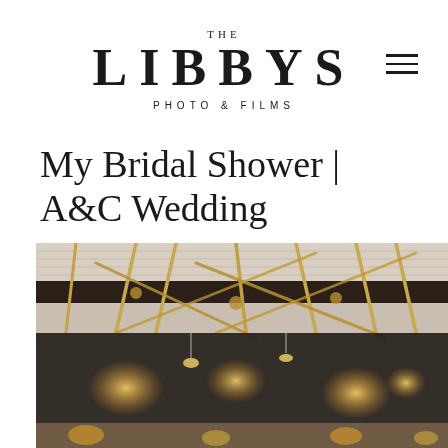[Figure (logo): The Libbys Photo & Films logo with THE in small caps, LIBBYS in large serif letters, and PHOTO & FILMS in spaced sans-serif below]
[Figure (other): Hamburger menu icon (three horizontal lines) in top right corner]
My Bridal Shower | A&C Wedding
[Figure (photo): Photograph of a venue ceiling with hanging rope/macrame decor, pendant lights, and wooden plank ceiling visible at bottom portion of page]